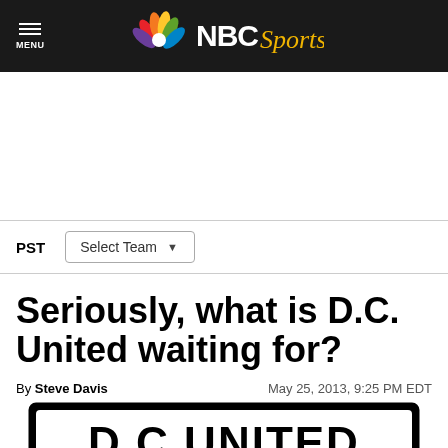NBC Sports
PST  Select Team
Seriously, what is D.C. United waiting for?
By Steve Davis   May 25, 2013, 9:25 PM EDT
[Figure (logo): DC United logo — large black and white emblem with stylized letters D.C.UNITED]